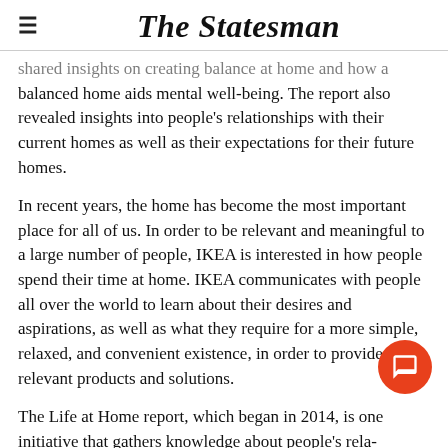The Statesman
shared insights on creating balance at home and how a balanced home aids mental well-being. The report also revealed insights into people's relationships with their current homes as well as their expectations for their future homes.
In recent years, the home has become the most important place for all of us. In order to be relevant and meaningful to a large number of people, IKEA is interested in how people spend their time at home. IKEA communicates with people all over the world to learn about their desires and aspirations, as well as what they require for a more simple, relaxed, and convenient existence, in order to provide relevant products and solutions.
The Life at Home report, which began in 2014, is one initiative that gathers knowledge about people's relationships with their homes, allowing IKEA to provide a better life at home experience for many people. The 2020 report